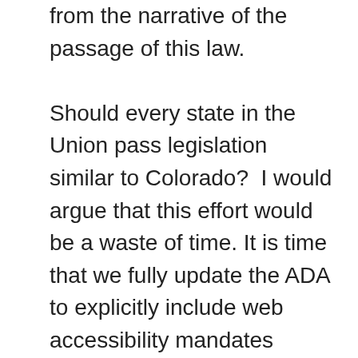from the narrative of the passage of this law.

Should every state in the Union pass legislation similar to Colorado?  I would argue that this effort would be a waste of time. It is time that we fully update the ADA to explicitly include web accessibility mandates under the ADA, including Section III: Public Accommodations. This section covers private entities and with other sections